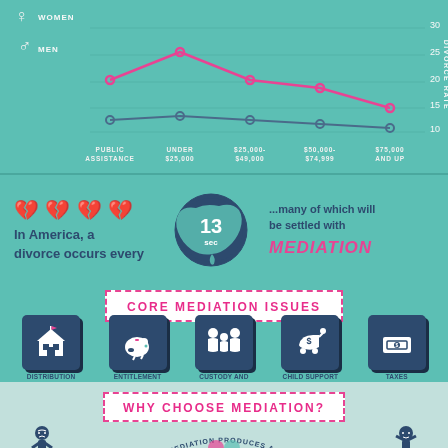[Figure (line-chart): Divorce Rate by Income for Women and Men]
In America, a divorce occurs every 13 sec ...many of which will be settled with MEDIATION
CORE MEDIATION ISSUES
[Figure (infographic): Five icon boxes showing core mediation issues: Distribution of Property (house icon), Entitlement (piggy bank icon), Custody and Parenting Time (people icon), Child Support (baby carriage icon), Taxes (money icon)]
DISTRIBUTION OF PROPERTY
ENTITLEMENT
CUSTODY AND PARENTING TIME
CHILD SUPPORT
TAXES
WHY CHOOSE MEDIATION?
[Figure (infographic): Two illustrated characters (angry man in suit with bowtie on left, frustrated woman on right) with text arc 'MEDIATION PRODUCES AGREEMENT' and overlapping circles in the center]